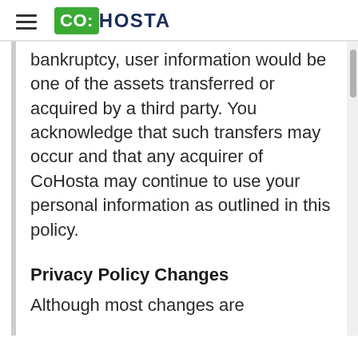CO:HOSTA
bankruptcy, user information would be one of the assets transferred or acquired by a third party. You acknowledge that such transfers may occur and that any acquirer of CoHosta may continue to use your personal information as outlined in this policy.
Privacy Policy Changes
Although most changes are